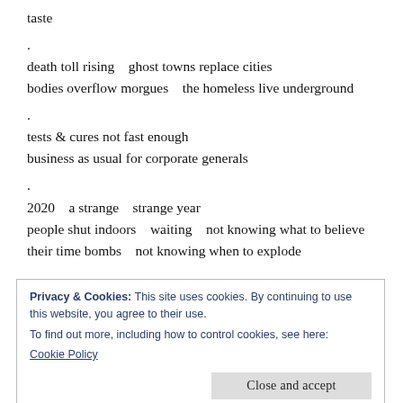taste
.
death toll rising   ghost towns replace cities
bodies overflow morgues   the homeless live underground
.
tests & cures not fast enough
business as usual for corporate generals
.
2020   a strange   strange year
people shut indoors   waiting   not knowing what to believe
their time bombs   not knowing when to explode
.
Patricia Carragon latest books from Poets Wear Prada are
Privacy & Cookies: This site uses cookies. By continuing to use this website, you agree to their use.
To find out more, including how to control cookies, see here:
Cookie Policy
Close and accept
Jonel Abellanosa